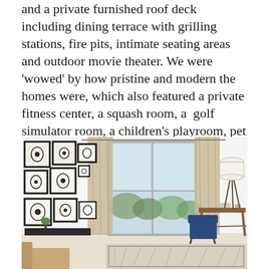and a private furnished roof deck including dining terrace with grilling stations, fire pits, intimate seating areas and outdoor movie theater. We were 'wowed' by how pristine and modern the homes were, which also featured a private fitness center, a squash room, a golf simulator room, a children's playroom, pet spa and guest suites, to name a few features.
[Figure (photo): Interior photo of a modern apartment room with a large floor-to-ceiling window with beige curtains, gallery wall of framed black and white artwork on the left wall, a wooden mid-century modern desk with a blue chair, a tripod floor lamp with white shade, a small plant, and a patterned area rug. Trees visible through the window.]